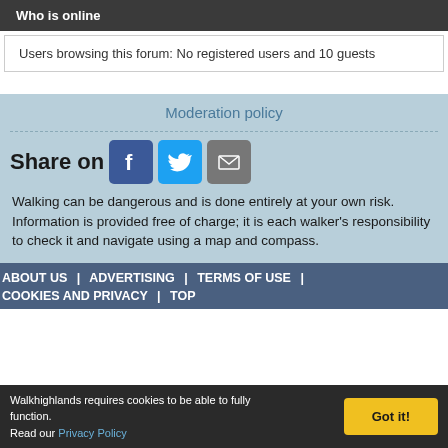Who is online
Users browsing this forum: No registered users and 10 guests
Moderation policy
Share on
Walking can be dangerous and is done entirely at your own risk. Information is provided free of charge; it is each walker's responsibility to check it and navigate using a map and compass.
ABOUT US | ADVERTISING | TERMS OF USE | COOKIES AND PRIVACY | TOP
Walkhighlands requires cookies to be able to fully function. Read our Privacy Policy